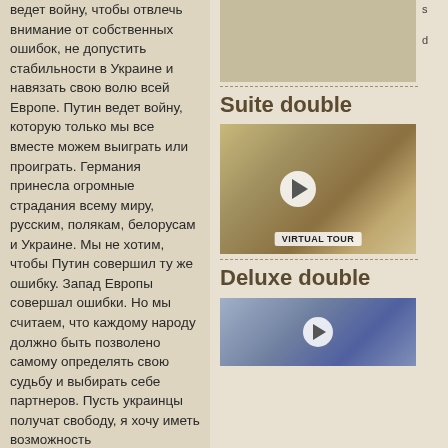ведет войну, чтобы отвлечь внимание от собственных ошибок, не допустить стабильности в Украине и навязать свою волю всей Европе. Путин ведет войну, которую только мы все вместе можем выиграть или проиграть. Германия принесла огромные страдания всему миру, русским, полякам, белорусам и Украине. Мы не хотим, чтобы Путин совершил ту же ошибку. Запад Европы совершал ошибки. Но мы считаем, что каждому народу должно быть позволено самому определять свою судьбу и выбирать себе партнеров. Пусть украинцы получат свободу, я хочу иметь возможность...
[Figure (photo): Top room image placeholder]
Suite double
[Figure (photo): Virtual tour photo of Suite double room with play button overlay]
Deluxe double
[Figure (photo): Virtual tour photo of Deluxe double room with play button overlay]